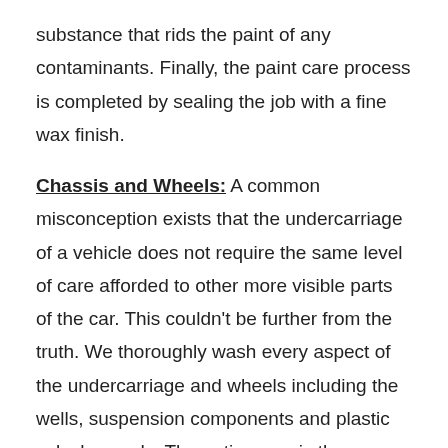substance that rids the paint of any contaminants. Finally, the paint care process is completed by sealing the job with a fine wax finish.
Chassis and Wheels: A common misconception exists that the undercarriage of a vehicle does not require the same level of care afforded to other more visible parts of the car. This couldn't be further from the truth. We thoroughly wash every aspect of the undercarriage and wheels including the wells, suspension components and plastic splash guards. The entire area is then dressed in a durable protecting layer that keeps your vehicle looking its best for as long as possible.